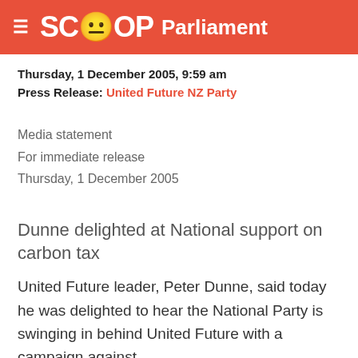SCOOP Parliament
Thursday, 1 December 2005, 9:59 am
Press Release: United Future NZ Party
Media statement
For immediate release
Thursday, 1 December 2005
Dunne delighted at National support on carbon tax
United Future leader, Peter Dunne, said today he was delighted to hear the National Party is swinging in behind United Future with a campaign against